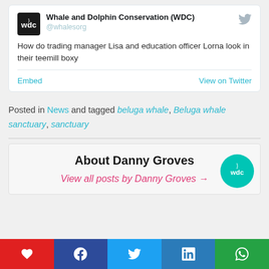[Figure (screenshot): Embedded tweet card from Whale and Dolphin Conservation (WDC) @whalesorg showing tweet text: 'How do trading manager Lisa and education officer Lorna look in their teemill boxy' with Embed and View on Twitter links]
Posted in News and tagged beluga whale, Beluga whale sanctuary, sanctuary
About Danny Groves
View all posts by Danny Groves →
[Figure (logo): WDC circular teal logo]